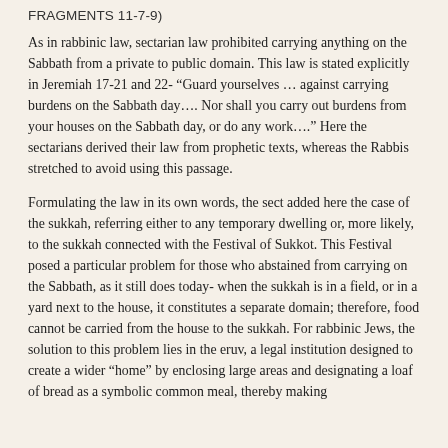FRAGMENTS 11-7-9)
As in rabbinic law, sectarian law prohibited carrying anything on the Sabbath from a private to public domain. This law is stated explicitly in Jeremiah 17-21 and 22- “Guard yourselves … against carrying burdens on the Sabbath day…. Nor shall you carry out burdens from your houses on the Sabbath day, or do any work….” Here the sectarians derived their law from prophetic texts, whereas the Rabbis stretched to avoid using this passage.
Formulating the law in its own words, the sect added here the case of the sukkah, referring either to any temporary dwelling or, more likely, to the sukkah connected with the Festival of Sukkot. This Festival posed a particular problem for those who abstained from carrying on the Sabbath, as it still does today- when the sukkah is in a field, or in a yard next to the house, it constitutes a separate domain; therefore, food cannot be carried from the house to the sukkah. For rabbinic Jews, the solution to this problem lies in the eruv, a legal institution designed to create a wider “home” by enclosing large areas and designating a loaf of bread as a symbolic common meal, thereby making